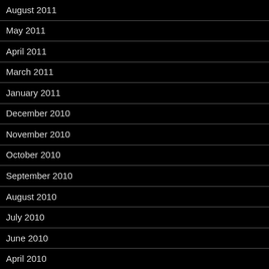August 2011
May 2011
April 2011
March 2011
January 2011
December 2010
November 2010
October 2010
September 2010
August 2010
July 2010
June 2010
April 2010